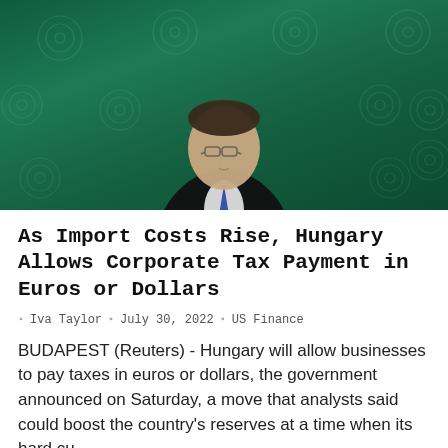[Figure (photo): A man in a dark suit and blue tie speaking at a podium or event, against a dark green background with circular watermark/logo patterns repeated across it.]
As Import Costs Rise, Hungary Allows Corporate Tax Payment in Euros or Dollars
Iva Taylor  July 30, 2022  US Finance
BUDAPEST (Reuters) - Hungary will allow businesses to pay taxes in euros or dollars, the government announced on Saturday, a move that analysts said could boost the country's reserves at a time when its hard cu...